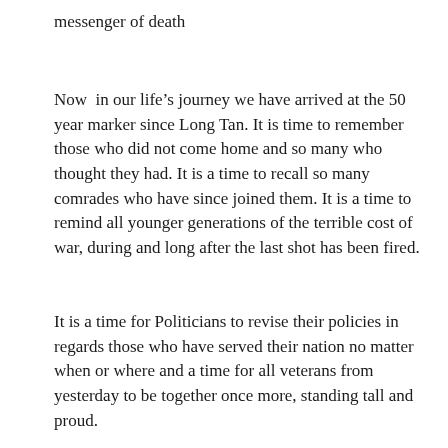messenger of death
Now  in our life’s journey we have arrived at the 50 year marker since Long Tan. It is time to remember those who did not come home and so many who thought they had. It is a time to recall so many comrades who have since joined them. It is a time to remind all younger generations of the terrible cost of war, during and long after the last shot has been fired.
It is a time for Politicians to revise their policies in regards those who have served their nation no matter when or where and a time for all veterans from yesterday to be together once more, standing tall and proud.